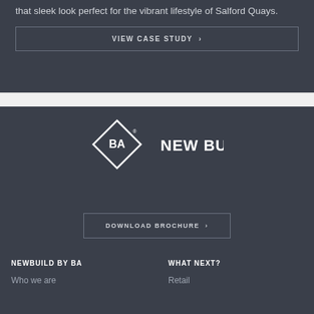that sleek look perfect for the vibrant lifestyle of Salford Quays.
VIEW CASE STUDY ›
[Figure (logo): BA New Build logo: diamond shape with 'BA' text inside and 'NEW BUILD' text to the right]
DOWNLOAD BROCHURE ›
NEWBUILD BY BA
WHAT NEXT?
Who we are
Retail